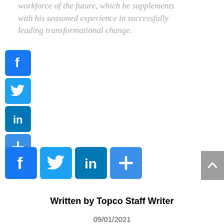workforce of the future, which he supplements with his seasoned experience in successfully leading transformational change.
[Figure (other): Vertical stack of social sharing icons: Facebook (blue), Twitter (light blue), LinkedIn (dark blue), Share/Plus (blue)]
[Figure (other): Horizontal row of social sharing icons: Facebook, Twitter, LinkedIn, Share/Plus]
[Figure (other): Gray scroll-to-top button with upward chevron arrow]
Written by Topco Staff Writer
09/01/2021